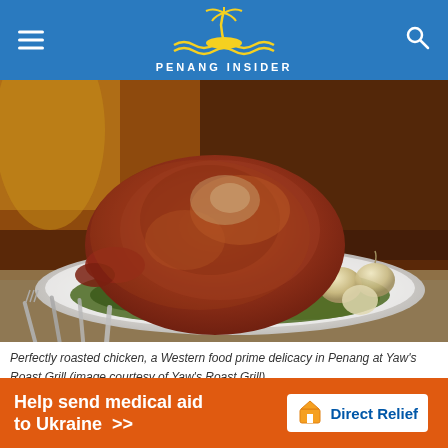PENANG INSIDER
[Figure (photo): Perfectly roasted whole chicken on a white plate, surrounded by fresh herbs and garlic bulbs, with forks in the foreground. Warm golden-brown coloring.]
Perfectly roasted chicken, a Western food prime delicacy in Penang at Yaw's Roast Grill (image courtesy of Yaw's Roast Grill)
Set in a local house, this is one no-frills, long-running and
[Figure (infographic): Orange advertisement banner: 'Help send medical aid to Ukraine >>' with Direct Relief logo on the right.]